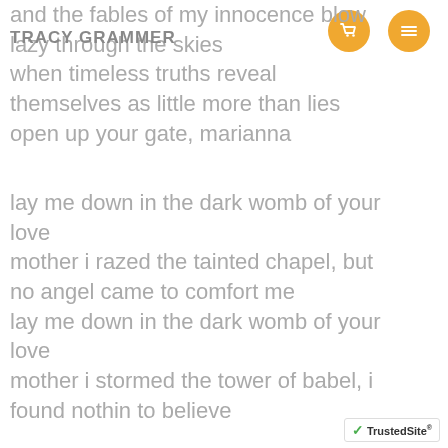TRACY GRAMMER
and the fables of my innocence blow lazy through the skies when timeless truths reveal themselves as little more than lies open up your gate, marianna
lay me down in the dark womb of your love
mother i razed the tainted chapel, but no angel came to comfort me
lay me down in the dark womb of your love
mother i stormed the tower of babel, i found nothin to believe
TrustedSite